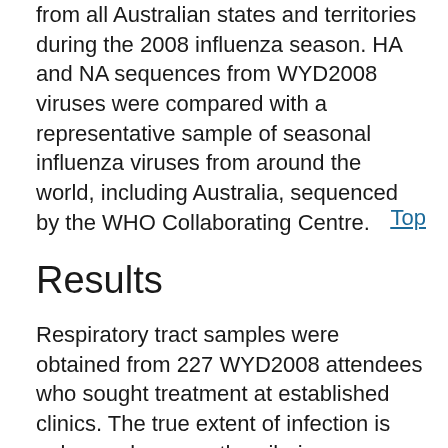from all Australian states and territories during the 2008 influenza season. HA and NA sequences from WYD2008 viruses were compared with a representative sample of seasonal influenza viruses from around the world, including Australia, sequenced by the WHO Collaborating Centre.
Top
Results
Respiratory tract samples were obtained from 227 WYD2008 attendees who sought treatment at established clinics. The true extent of infection is unknown because the pilgrims voluntarily visited the clinics, and respiratory tract sampling was limited at several accommodation sites after the outbreak was identified. The median age of the pilgrims tested was